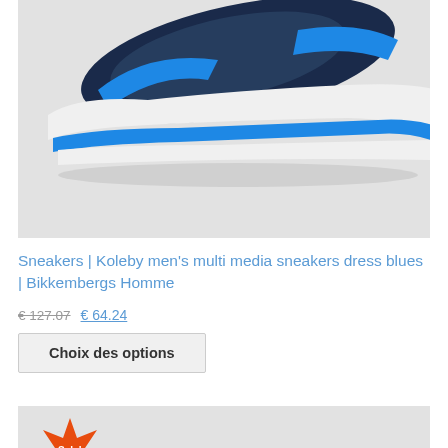[Figure (photo): Sneaker shoe product photo — dark navy/blue athletic sneaker with blue and white sole on grey background, cropped showing bottom portion of the shoe]
Sneakers | Koleby men's multi media sneakers dress blues | Bikkembergs Homme
€ 127.07   € 64.24
Choix des options
[Figure (photo): Partial view of next product card with orange/red Sale! badge starburst shape at bottom of page]